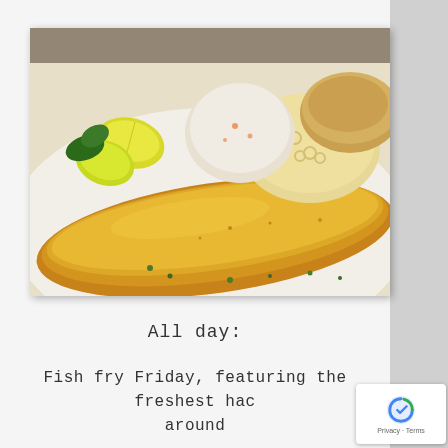[Figure (photo): Close-up photo of a fried fish fillet on a white plate, with macaroni salad, coleslaw, a bread roll, and lemon wedges visible in the background. The fish has a golden-brown breaded coating. Green herb garnish visible on the plate.]
All day:
Fish fry Friday, featuring the freshest haddock around